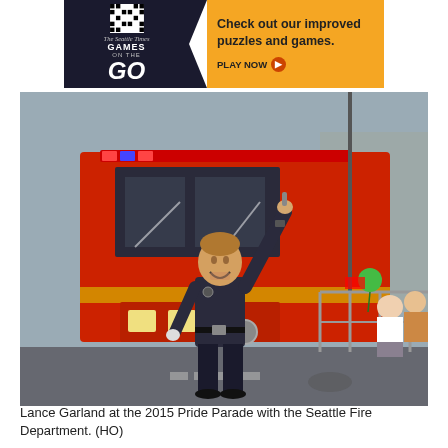[Figure (photo): Advertisement banner for The Seattle Times 'Games on the Go' showing a crossword puzzle graphic on the left (dark background) and text 'Check out our improved puzzles and games. PLAY NOW' on an orange/yellow background on the right.]
[Figure (photo): A firefighter in dark navy uniform with one arm raised high, smiling and celebrating, walking in front of a red fire truck during the 2015 Pride Parade with the Seattle Fire Department. Spectators are visible behind metal barriers on the right side.]
Lance Garland at the 2015 Pride Parade with the Seattle Fire Department. (HO)